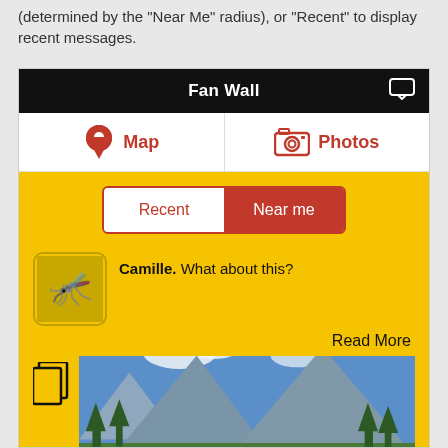(determined by the "Near Me" radius), or "Recent" to display recent messages.
[Figure (screenshot): Mobile app screenshot showing Fan Wall interface with Map/Photos navigation, Recent/Near me toggle buttons on yellow background, a post by Camille saying 'What about this?', a Read More link, and a landscape photo of mountains/valley (Yosemite-like scenery)]